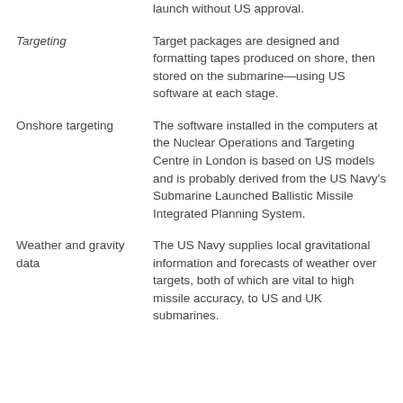launch without US approval.
Targeting — Target packages are designed and formatting tapes produced on shore, then stored on the submarine—using US software at each stage.
Onshore targeting — The software installed in the computers at the Nuclear Operations and Targeting Centre in London is based on US models and is probably derived from the US Navy's Submarine Launched Ballistic Missile Integrated Planning System.
Weather and gravity data — The US Navy supplies local gravitational information and forecasts of weather over targets, both of which are vital to high missile accuracy, to US and UK submarines.